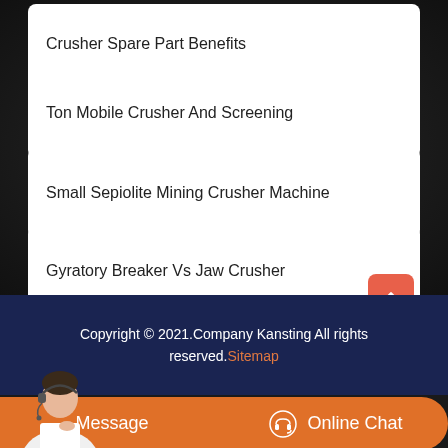Crusher Spare Part Benefits
Ton Mobile Crusher And Screening
Small Sepiolite Mining Crusher Machine
Gyratory Breaker Vs Jaw Crusher
Copyright © 2021.Company Kansting All rights reserved. Sitemap
Message
Online Chat